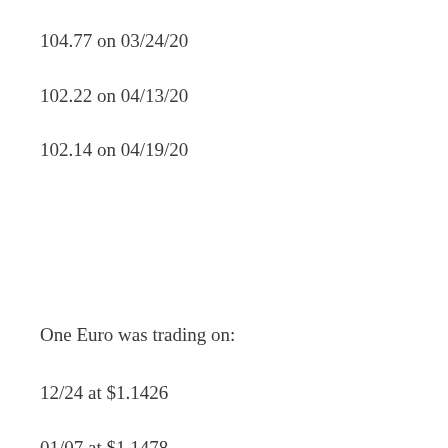104.77 on 03/24/20
102.22 on 04/13/20
102.14 on 04/19/20
One Euro was trading on:
12/24 at $1.1426
01/07 at $1.1478